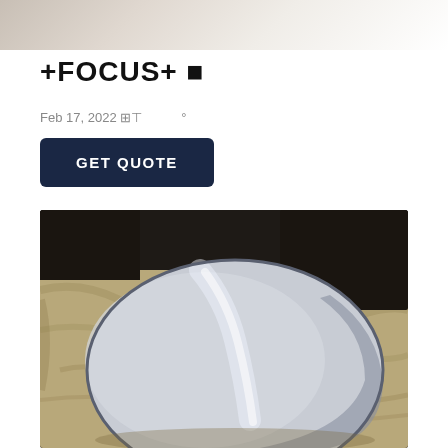[Figure (photo): Top photo strip showing a bright, light-colored background with glowing light effect]
+FOCUS+ 🔳
Feb 17, 2022 ⊞⊞⠀⠀⠀°⠀
GET QUOTE
[Figure (photo): A large circular polished metal disc (mirror-like surface) resting on beige/khaki fabric material, with dark background. The disc reflects light with a streak of bright reflection across its surface.]